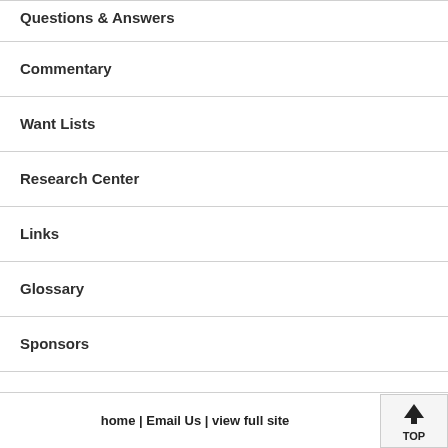Questions & Answers
Commentary
Want Lists
Research Center
Links
Glossary
Sponsors
home | Email Us | view full site